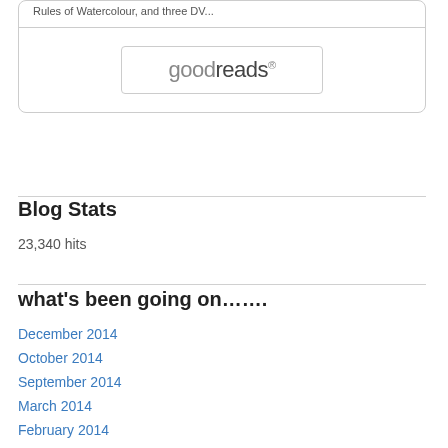[Figure (logo): Goodreads widget box with top text 'Rules of Watercolour, and three DV...' and a Goodreads button]
Blog Stats
23,340 hits
what’s been going on…….
December 2014
October 2014
September 2014
March 2014
February 2014
January 2014
December 2013